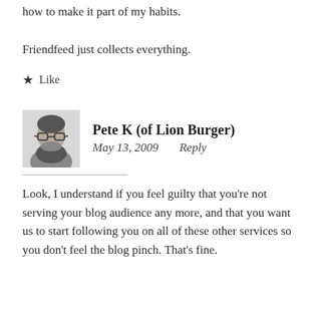how to make it part of my habits.
Friendfeed just collects everything.
★ Like
Pete K (of Lion Burger)
May 13, 2009    Reply
Look, I understand if you feel guilty that you're not serving your blog audience any more, and that you want us to start following you on all of these other services so you don't feel the blog pinch. That's fine.